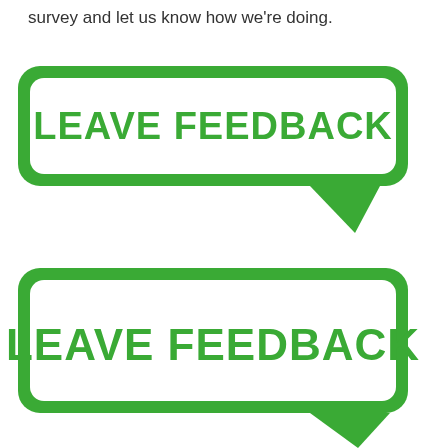survey and let us know how we're doing.
[Figure (illustration): Two green speech bubble shapes with bold green text reading 'LEAVE FEEDBACK' inside each bubble. The first bubble has its tail pointing to the bottom-right, the second bubble below it also with tail pointing to the bottom-right.]